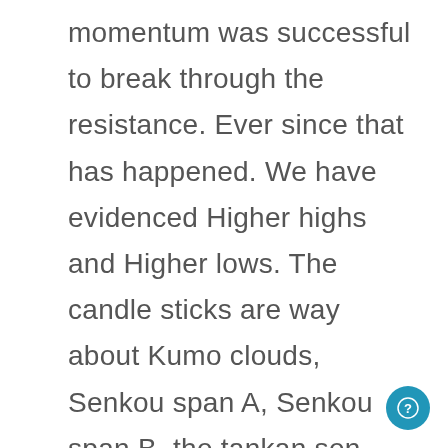momentum was successful to break through the resistance. Ever since that has happened. We have evidenced Higher highs and Higher lows. The candle sticks are way about Kumo clouds, Senkou span A, Senkou span B, the tankan sen crossed Kinjun Sen from below in November 2017 thus indicating a stronger bullish momentum than there was before this transition occurred. The candle sticks have been testing the Bollinger bands ever since this cross. however, the most recent was on 12 January 2018 and another one on 24 January 2018 (this was...